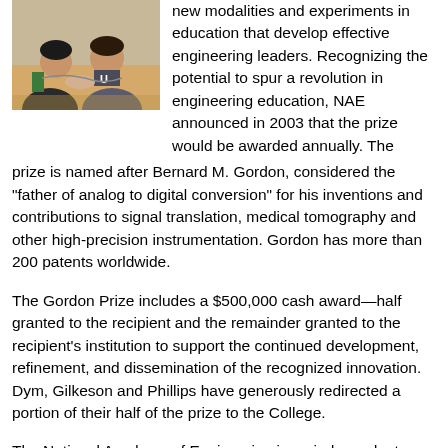[Figure (photo): Two students working together at a table on an engineering or hands-on activity, indoors.]
new modalities and experiments in education that develop effective engineering leaders. Recognizing the potential to spur a revolution in engineering education, NAE announced in 2003 that the prize would be awarded annually. The prize is named after Bernard M. Gordon, considered the “father of analog to digital conversion” for his inventions and contributions to signal translation, medical tomography and other high-precision instrumentation. Gordon has more than 200 patents worldwide.
The Gordon Prize includes a $500,000 cash award—half granted to the recipient and the remainder granted to the recipient's institution to support the continued development, refinement, and dissemination of the recognized innovation. Dym, Gilkeson and Phillips have generously redirected a portion of their half of the prize to the College.
The National Academy of Engineering is an independent, nonprofit institution. Its members consist of the nation’s premier engineers, who are elected by their peers for seminal contributions to engineering. The academy provides leadership and guidance to